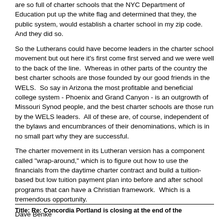are so full of charter schools that the NYC Department of Education put up the white flag and determined that they, the public system, would establish a charter school in my zip code.  And they did so.
So the Lutherans could have become leaders in the charter school movement but out here it's first come first served and we were well to the back of the line.  Whereas in other parts of the country the best charter schools are those founded by our good friends in the WELS.  So say in Arizona the most profitable and beneficial college system - Phoenix and Grand Canyon - is an outgrowth of Missouri Synod people, and the best charter schools are those run by the WELS leaders.  All of these are, of course, independent of the bylaws and encumbrances of their denominations, which is in no small part why they are successful.
The charter movement in its Lutheran version has a component called "wrap-around," which is to figure out how to use the financials from the daytime charter contract and build a tuition-based but low tuition payment plan into before and after school programs that can have a Christian framework.  Which is a tremendous opportunity.
Dave Benke
Title: Re: Concordia Portland is closing at the end of the